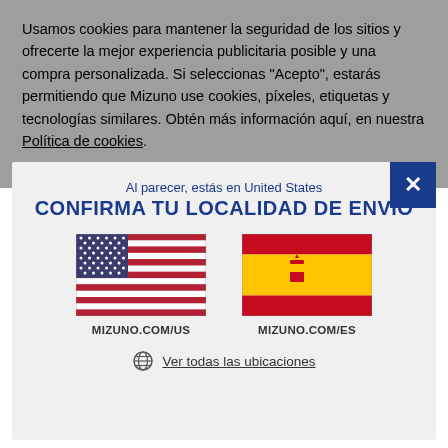Usamos cookies para mantener la seguridad de los sitios y ofrecerte la mejor experiencia publicitaria posible y una compra personalizada. Si seleccionas "Acepto", estarás permitiendo que Mizuno use cookies, píxeles, etiquetas y tecnologías similares. Obtén más información aquí, en nuestra Política de cookies.
[Figure (screenshot): Modal dialog confirming shipping location with US and Spain flag options and a 'Ver todas las ubicaciones' link]